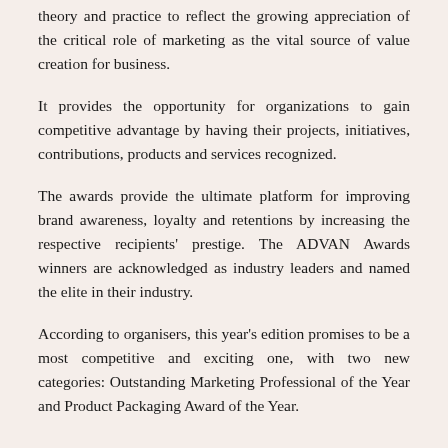theory and practice to reflect the growing appreciation of the critical role of marketing as the vital source of value creation for business.
It provides the opportunity for organizations to gain competitive advantage by having their projects, initiatives, contributions, products and services recognized.
The awards provide the ultimate platform for improving brand awareness, loyalty and retentions by increasing the respective recipients' prestige. The ADVAN Awards winners are acknowledged as industry leaders and named the elite in their industry.
According to organisers, this year's edition promises to be a most competitive and exciting one, with two new categories: Outstanding Marketing Professional of the Year and Product Packaging Award of the Year.